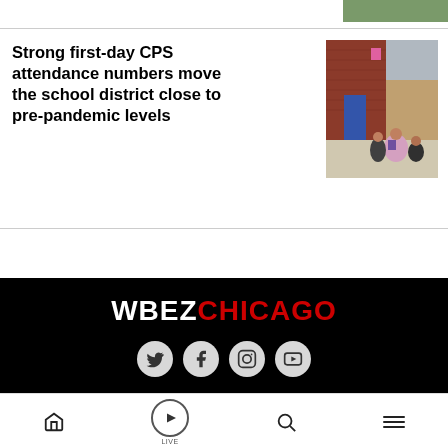[Figure (photo): Small thumbnail photo at top right, partially visible, green/outdoor scene]
Strong first-day CPS attendance numbers move the school district close to pre-pandemic levels
[Figure (photo): Photo of children with backpacks walking toward school building, brick building with blue door]
[Figure (logo): WBEZ Chicago logo in white and red on black background with social media icons (Twitter, Facebook, Instagram, YouTube)]
Home | Live | Search | Menu navigation bar